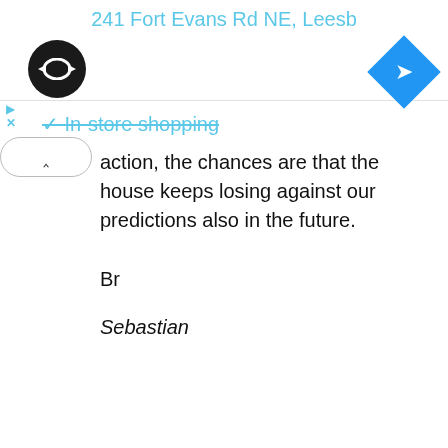241 Fort Evans Rd NE, Leesb
[Figure (logo): Black circular logo with double arrow icon]
[Figure (other): Blue diamond navigation turn-right icon]
In-store shopping
action, the chances are that the house keeps losing against our predictions also in the future.
Br
Sebastian